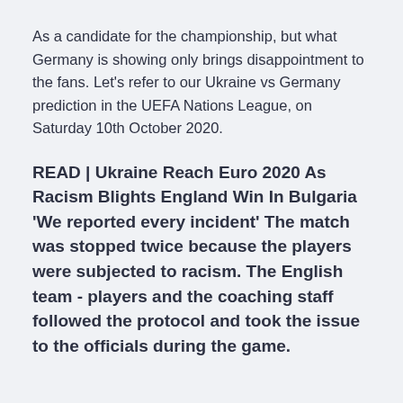As a candidate for the championship, but what Germany is showing only brings disappointment to the fans. Let's refer to our Ukraine vs Germany prediction in the UEFA Nations League, on Saturday 10th October 2020.
READ | Ukraine Reach Euro 2020 As Racism Blights England Win In Bulgaria 'We reported every incident' The match was stopped twice because the players were subjected to racism. The English team - players and the coaching staff followed the protocol and took the issue to the officials during the game.